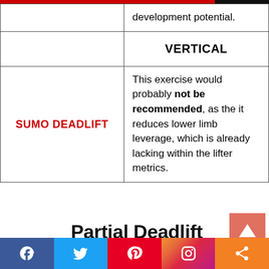|  |  |
| --- | --- |
|  | development potential. |
|  | VERTICAL |
| SUMO DEADLIFT | This exercise would probably not be recommended, as the it reduces lower limb leverage, which is already lacking within the lifter metrics. |
Partial Deadlift